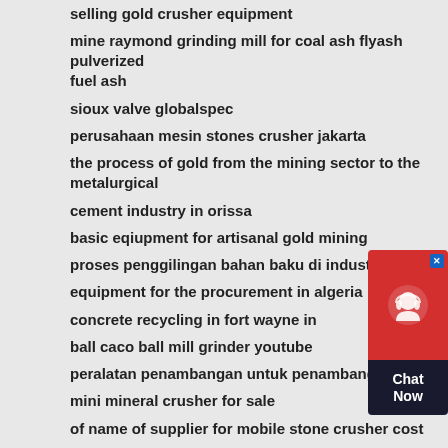selling gold crusher equipment
mine raymond grinding mill for coal ash flyash pulverized fuel ash
sioux valve globalspec
perusahaan mesin stones crusher jakarta
the process of gold from the mining sector to the metalurgical
cement industry in orissa
basic eqiupment for artisanal gold mining
proses penggilingan bahan baku di industri semen
equipment for the procurement in algeria
concrete recycling in fort wayne in
ball caco ball mill grinder youtube
peralatan penambangan untuk penambangan emas
mini mineral crusher for sale
of name of supplier for mobile stone crusher cost
used small rock crusher for sale brisbane
mixer grinders justby
[Figure (other): Chat Now widget with red top section containing a headset icon and a close button, and a dark bottom section with 'Chat Now' text]